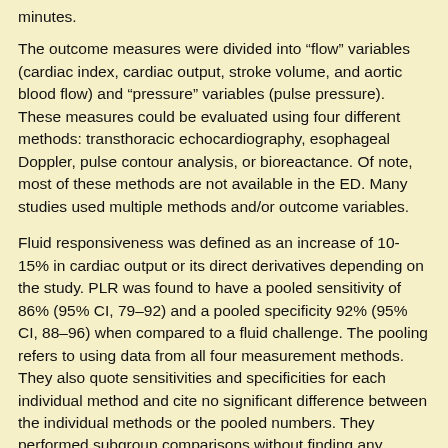minutes.
The outcome measures were divided into “flow” variables (cardiac index, cardiac output, stroke volume, and aortic blood flow) and “pressure” variables (pulse pressure). These measures could be evaluated using four different methods: transthoracic echocardiography, esophageal Doppler, pulse contour analysis, or bioreactance. Of note, most of these methods are not available in the ED. Many studies used multiple methods and/or outcome variables.
Fluid responsiveness was defined as an increase of 10-15% in cardiac output or its direct derivatives depending on the study. PLR was found to have a pooled sensitivity of 86% (95% CI, 79–92) and a pooled specificity 92% (95% CI, 88–96) when compared to a fluid challenge. The pooling refers to using data from all four measurement methods. They also quote sensitivities and specificities for each individual method and cite no significant difference between the individual methods or the pooled numbers. They performed subgroup comparisons without finding any significant difference between the following groups: studies in France or not in France, and studies on or not studying...